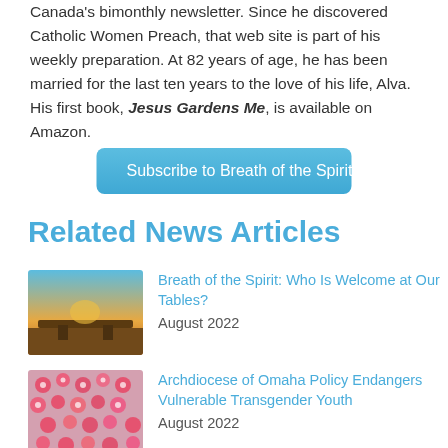Canada's bimonthly newsletter. Since he discovered Catholic Women Preach, that web site is part of his weekly preparation. At 82 years of age, he has been married for the last ten years to the love of his life, Alva. His first book, Jesus Gardens Me, is available on Amazon.
Subscribe to Breath of the Spirit
Related News Articles
[Figure (photo): Sunset over water with table and bench silhouette]
Breath of the Spirit: Who Is Welcome at Our Tables?
August 2022
[Figure (photo): Aerial view of colorful flowers arranged in a pattern]
Archdiocese of Omaha Policy Endangers Vulnerable Transgender Youth
August 2022
[Figure (photo): Nature landscape with river and green fields]
Breath of the Spirit: If We Journey, Then We Can Hope
August 2022